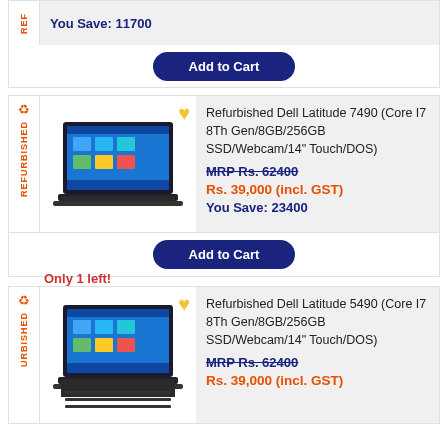You Save: 11700
Add to Cart
[Figure (screenshot): Refurbished Dell Latitude 7490 product listing card with laptop image]
Refurbished Dell Latitude 7490 (Core I7 8Th Gen/8GB/256GB SSD/Webcam/14" Touch/DOS)
MRP Rs. 62400
Rs. 39,000 (incl. GST)
You Save: 23400
Add to Cart
Only 1 left!
[Figure (screenshot): Refurbished Dell Latitude 5490 product listing card with laptop image]
Refurbished Dell Latitude 5490 (Core I7 8Th Gen/8GB/256GB SSD/Webcam/14" Touch/DOS)
MRP Rs. 62400
Rs. 39,000 (incl. GST)